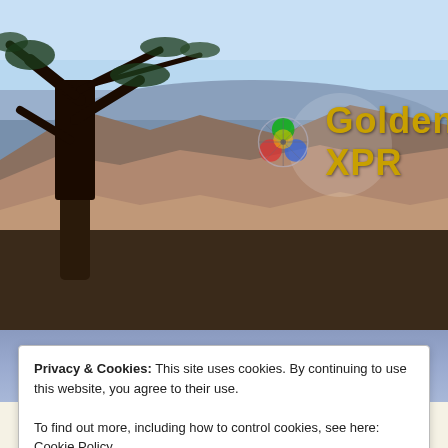[Figure (photo): Scenic photo of canyon landscape with tree in foreground, used as website header banner background]
Golden XPR
≡ Menu
Archives: Memberships
Home » Memberships
eXPiRe Membership Catalog
Privacy & Cookies: This site uses cookies. By continuing to use this website, you agree to their use.
To find out more, including how to control cookies, see here: Cookie Policy
Close and accept